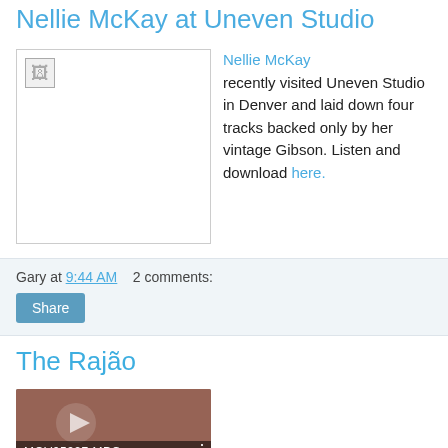Nellie McKay at Uneven Studio
[Figure (photo): Broken image placeholder for Nellie McKay at Uneven Studio]
Nellie McKay recently visited Uneven Studio in Denver and laid down four tracks backed only by her vintage Gibson. Listen and download here.
Gary at 9:44 AM    2 comments:
Share
The Rajão
[Figure (screenshot): Video thumbnail showing MOV05927.MPG with a play button overlay]